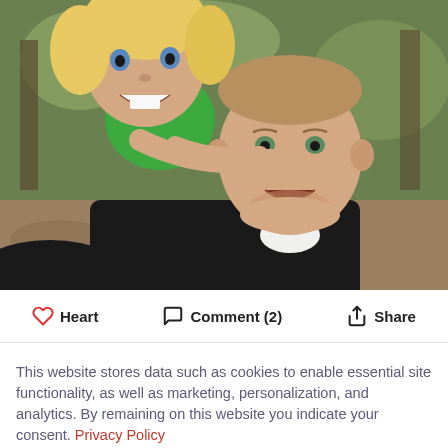[Figure (photo): A cheerful child with blonde hair and a green shirt wraps their arms around the neck of a smiling adult man wearing a black shirt, both outdoors in a wooded/park setting. The child is on the adult's back in a piggyback-style pose.]
Heart   Comment (2)   Share
This website stores data such as cookies to enable essential site functionality, as well as marketing, personalization, and analytics. By remaining on this website you indicate your consent. Privacy Policy